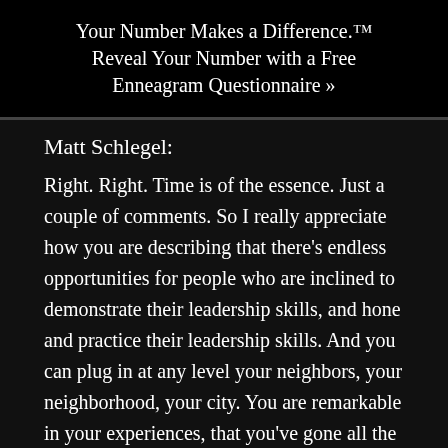Your Number Makes a Difference.™ Reveal Your Number with a Free Enneagram Questionnaire »
Matt Schlegel:
Right. Right. Time is of the essence. Just a couple of comments. So I really appreciate how you are describing that there's endless opportunities for people who are inclined to demonstrate their leadership skills, and hone and practice their leadership skills. And you can plug in at any level your neighbors, your neighborhood, your city. You are remarkable in your experiences, that you've gone all the way from your neighborhood all the